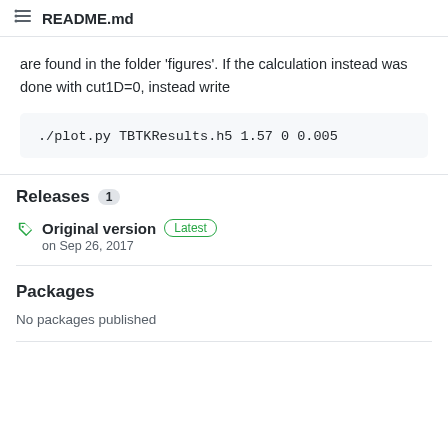README.md
are found in the folder 'figures'. If the calculation instead was done with cut1D=0, instead write
Releases 1
Original version Latest
on Sep 26, 2017
Packages
No packages published